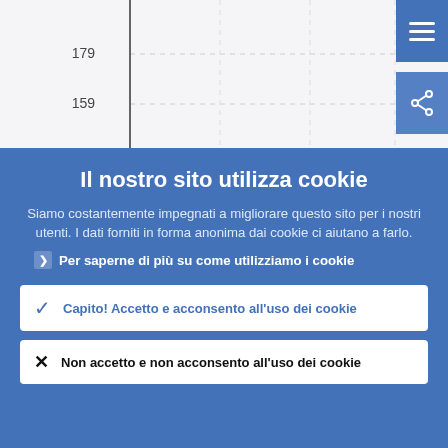[Figure (continuous-plot): Partial view of a line/bar chart with y-axis labels 179 and 159, dashed horizontal gridlines on a light gray background. A vertical axis line is visible on the left. Two blue UI buttons (hamburger menu and share icon) appear in the top-right corner.]
Il nostro sito utilizza cookie
Siamo costantemente impegnati a migliorare questo sito per i nostri utenti. I dati forniti in forma anonima dai cookie ci aiutano a farlo.
Per saperne di più su come utilizziamo i cookie
Capito! Accetto e acconsento all'uso dei cookie
Non accetto e non acconsento all'uso dei cookie